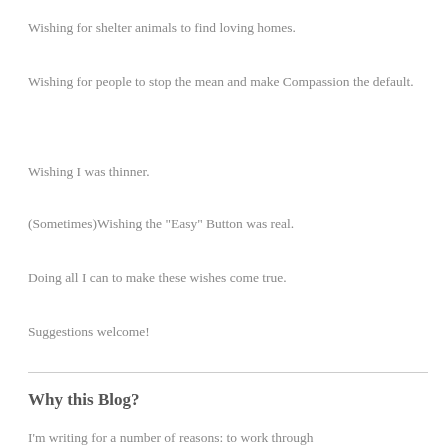Wishing for shelter animals to find loving homes.
Wishing for people to stop the mean and make Compassion the default.
Wishing I was thinner.
(Sometimes)Wishing the "Easy" Button was real.
Doing all I can to make these wishes come true.
Suggestions welcome!
Why this Blog?
I'm writing for a number of reasons: to work through